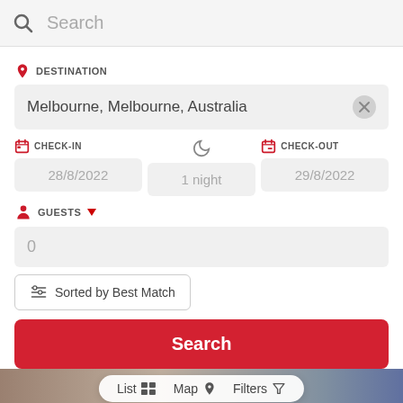Search
DESTINATION
Melbourne, Melbourne, Australia
CHECK-IN
28/8/2022
1 night
CHECK-OUT
29/8/2022
GUESTS
0
Sorted by Best Match
Search
List  Map  Filters